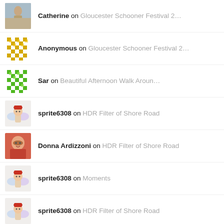Catherine on Gloucester Schooner Festival 2...
Anonymous on Gloucester Schooner Festival 2...
Sar on Beautiful Afternoon Walk Aroun...
sprite6308 on HDR Filter of Shore Road
Donna Ardizzoni on HDR Filter of Shore Road
sprite6308 on Moments
sprite6308 on HDR Filter of Shore Road
Joey Ciaramitaro on Breaking news! New category! W...